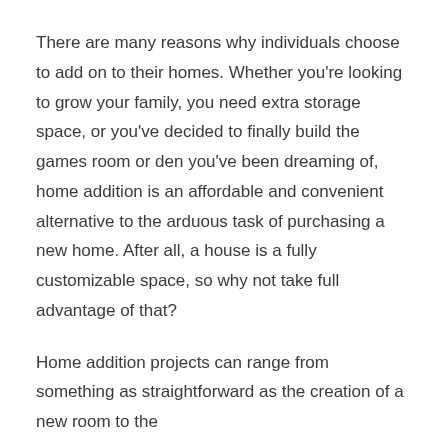There are many reasons why individuals choose to add on to their homes. Whether you're looking to grow your family, you need extra storage space, or you've decided to finally build the games room or den you've been dreaming of, home addition is an affordable and convenient alternative to the arduous task of purchasing a new home. After all, a house is a fully customizable space, so why not take full advantage of that?
Home addition projects can range from something as straightforward as the creation of a new room to the